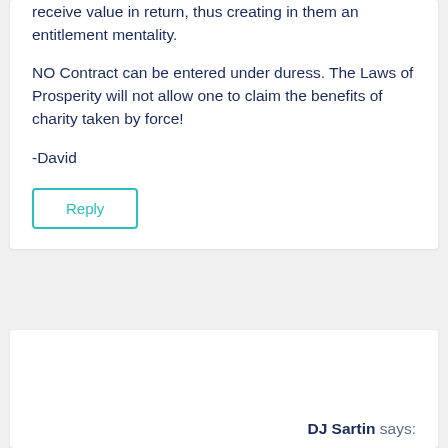[Figure (other): Hamburger menu icon (three horizontal teal lines) in top right corner]
receive value in return, thus creating in them an entitlement mentality.
NO Contract can be entered under duress. The Laws of Prosperity will not allow one to claim the benefits of charity taken by force!
-David
Reply
DJ Sartin says: